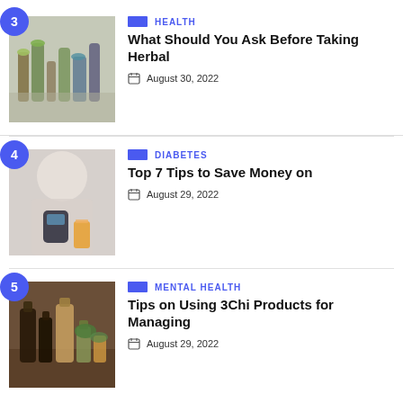3 | HEALTH | What Should You Ask Before Taking Herbal | August 30, 2022
4 | DIABETES | Top 7 Tips to Save Money on | August 29, 2022
5 | MENTAL HEALTH | Tips on Using 3Chi Products for Managing | August 29, 2022